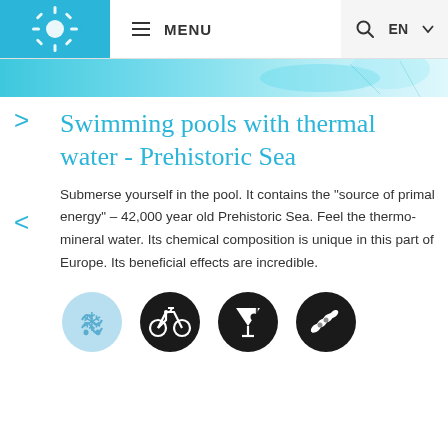MENU  EN
[Figure (screenshot): Teal/cyan hero band with water/pool imagery]
Swimming pools with thermal water - Prehistoric Sea
Submerse yourself in the pool. It contains the "source of primal energy" – 42,000 year old Prehistoric Sea. Feel the thermo-mineral water. Its chemical composition is unique in this part of Europe. Its beneficial effects are incredible.
[Figure (infographic): Four circular icons: light blue circle with spa/thermal symbol, black circle with bicycle, black circle with cocktail/music note, black circle with olive branch]